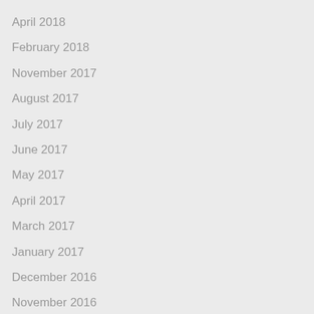April 2018
February 2018
November 2017
August 2017
July 2017
June 2017
May 2017
April 2017
March 2017
January 2017
December 2016
November 2016